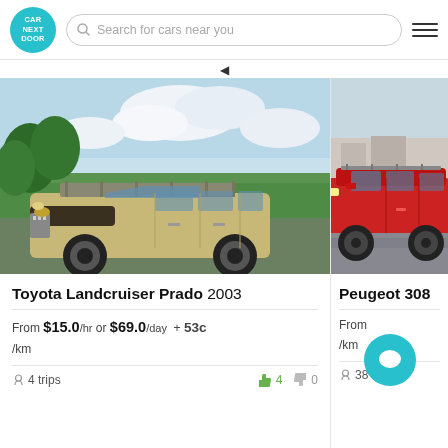CAR NEXT DOOR — Search for cars near you
[Figure (screenshot): App listing for Toyota Landcruiser Prado 2003 — car hire listing card with photo of gold SUV in green field, price from $15.0/hr or $69.0/day + 53c/km, 4 trips, thumbs up 4, thumbs down 0]
Toyota Landcruiser Prado 2003
From $15.0 /hr or $69.0 /day + 53c /km
4 trips  4  0
[Figure (screenshot): App listing for Peugeot 308 — partial card visible on right side with red SUV photo, 38 trips, price partially visible, chat bubble overlay]
Peugeot 308
38 trips